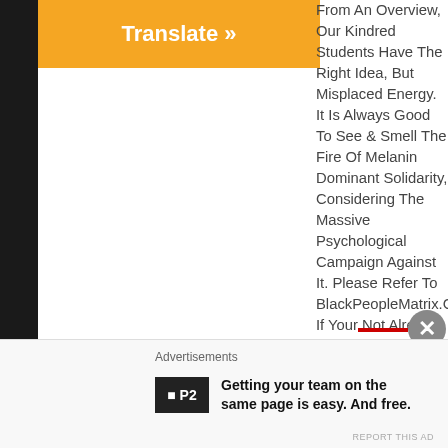[Figure (other): Orange Translate button with white bold text 'Translate »' on orange background, with dark left sidebar]
From An Overview, Our Kindred Students Have The Right Idea, But Misplaced Energy. It Is Always Good To See & Smell The Fire Of Melanin Dominant Solidarity, Considering The Massive Psychological Campaign Against It. Please Refer To BlackPeopleMatrix.Com, If Your Not Already In The Know...It Is Our Time & Cycle To Return Back To Our Original & Primary Place In This World—With ALL The Attendant Respect, & Admiration That Spot Deserves...We're Only Bound To See
Advertisements
Getting your team on the same page is easy. And free.